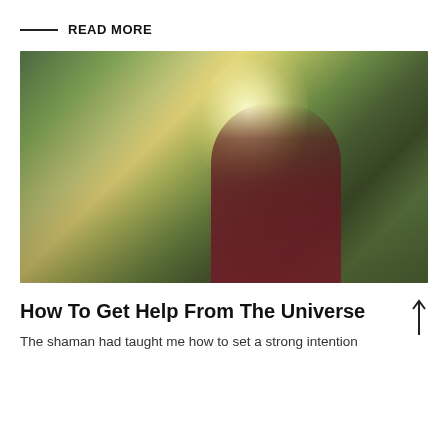READ MORE
[Figure (photo): A blonde woman in a dark maroon top with hands clasped near her chin, eyes closed, standing outdoors in a park with sunlight filtering through green trees behind her.]
How To Get Help From The Universe
The shaman had taught me how to set a strong intention